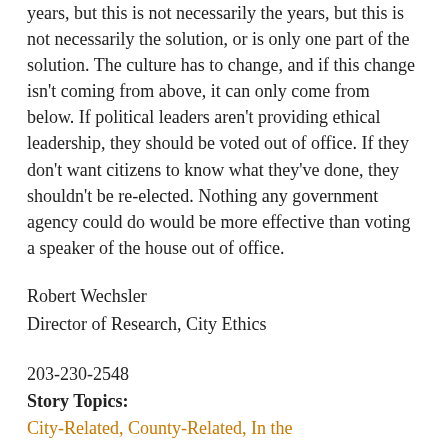years, but this is not necessarily the solution, or is only one part of the solution. The culture has to change, and if this change isn't coming from above, it can only come from below. If political leaders aren't providing ethical leadership, they should be voted out of office. If they don't want citizens to know what they've done, they shouldn't be re-elected. Nothing any government agency could do would be more effective than voting a speaker of the house out of office.
Robert Wechsler
Director of Research, City Ethics
203-230-2548
Story Topics:
City-Related, County-Related, In the